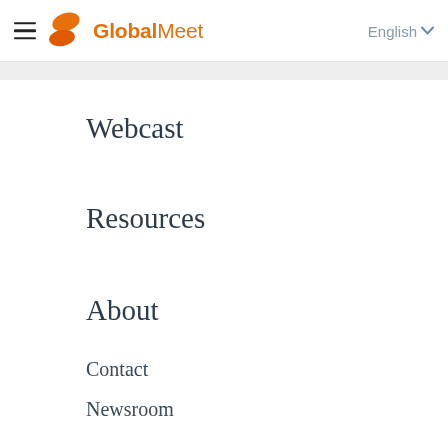GlobalMeet — English
Webcast
Resources
About
Contact
Newsroom